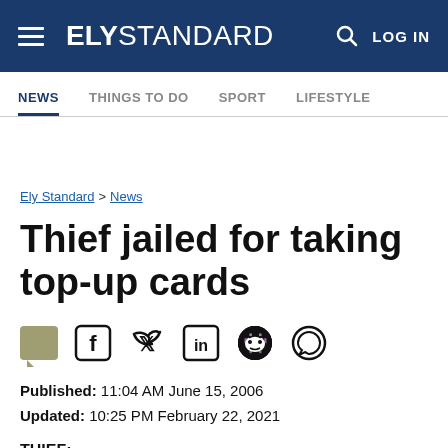ELY STANDARD — LOG IN
NEWS  THINGS TO DO  SPORT  LIFESTYLE
Ely Standard > News
Thief jailed for taking top-up cards
Published: 11:04 AM June 15, 2006
Updated: 10:25 PM February 22, 2021
THIEF: ...